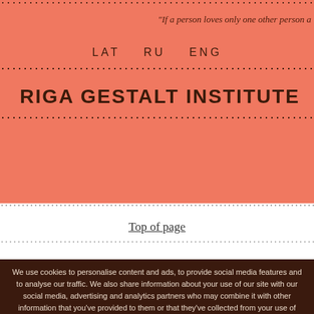“If a person loves only one other person a
LAT   RU   ENG
RIGA GESTALT INSTITUTE
Top of page
We use cookies to personalise content and ads, to provide social media features and to analyse our traffic. We also share information about your use of our site with our social media, advertising and analytics partners who may combine it with other information that you’ve provided to them or that they’ve collected from your use of their services. You consent to our cookies if you continue to use our website. To understand more about how we use cookies, please see our Privacy Policy. We are GDPR compliant company and software that we use in our service is GDPR complaint.